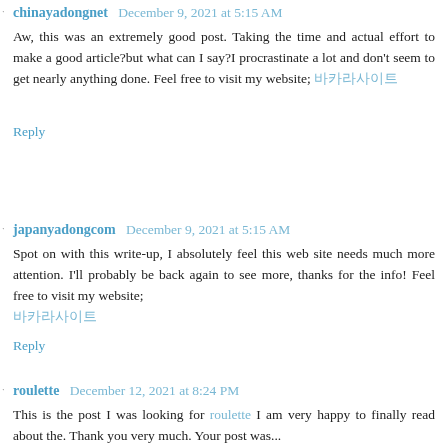chinayadongnet December 9, 2021 at 5:15 AM
Aw, this was an extremely good post. Taking the time and actual effort to make a good article?but what can I say?I procrastinate a lot and don't seem to get nearly anything done. Feel free to visit my website; 바카라사이트
Reply
japanyadongcom December 9, 2021 at 5:15 AM
Spot on with this write-up, I absolutely feel this web site needs much more attention. I'll probably be back again to see more, thanks for the info! Feel free to visit my website; 바카라사이트
Reply
roulette December 12, 2021 at 8:24 PM
This is the post I was looking for roulette I am very happy to finally read about the. Thank you very much. Your post was...